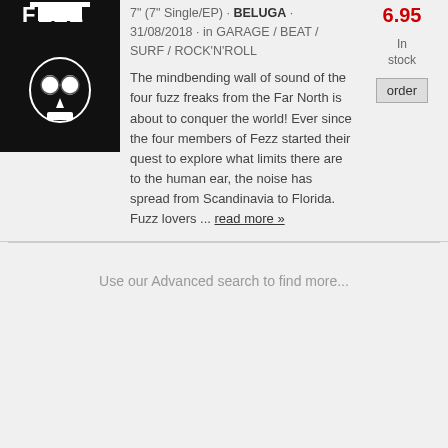[Figure (illustration): Album cover with white skull/face illustration on black background with stylized FEZZ text at top]
7" (7" Single/EP) · BELUGA · 31/08/2018 · in GARAGE / BEAT / SURF / ROCK'N'ROLL
6.95
In stock
order
The mindbending wall of sound of the four fuzz freaks from the Far North is about to conquer the world! Ever since the four members of Fezz started their quest to explore what limits there are to the human ear, the noise has spread from Scandinavia to Florida. Fuzz lovers ... read more »
Use our Advanced search to find more...